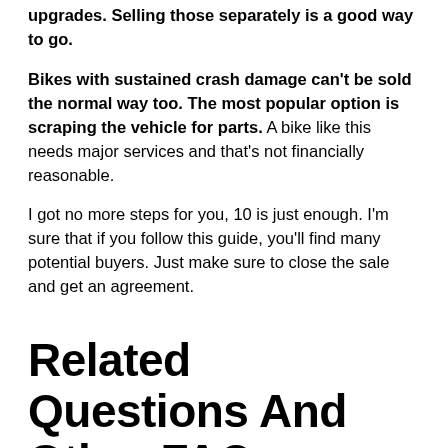upgrades. Selling those separately is a good way to go.
Bikes with sustained crash damage can't be sold the normal way too. The most popular option is scraping the vehicle for parts. A bike like this needs major services and that's not financially reasonable.
I got no more steps for you, 10 is just enough. I'm sure that if you follow this guide, you'll find many potential buyers. Just make sure to close the sale and get an agreement.
Related Questions And Other FAQs